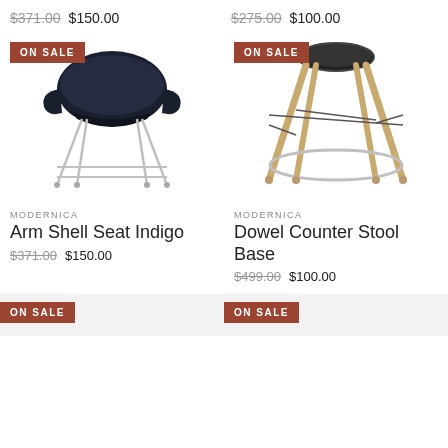Pumpernickel — $371.00 $150.00 (top left, cropped)
Blue — $275.00 $100.00 (top right, cropped)
[Figure (photo): Black arm shell chair on metal legs with ON SALE badge]
MODERNICA
Arm Shell Seat Indigo
$371.00 $150.00
[Figure (photo): Dowel counter stool base with wooden legs and chrome ring, ON SALE badge]
MODERNICA
Dowel Counter Stool Base
$499.00 $100.00
[Figure (photo): ON SALE badge visible at bottom left, cropped product image]
[Figure (photo): ON SALE badge visible at bottom right, cropped product image]